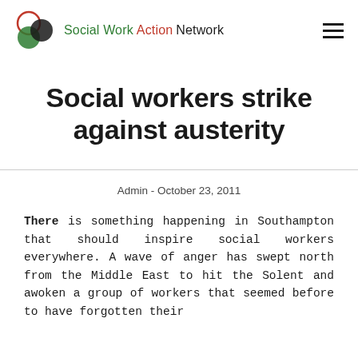[Figure (logo): Social Work Action Network logo with three overlapping circles (red outline, green filled, black) and site name]
Social workers strike against austerity
Admin - October 23, 2011
There is something happening in Southampton that should inspire social workers everywhere. A wave of anger has swept north from the Middle East to hit the Solent and awoken a group of workers that seemed before to have forgotten their